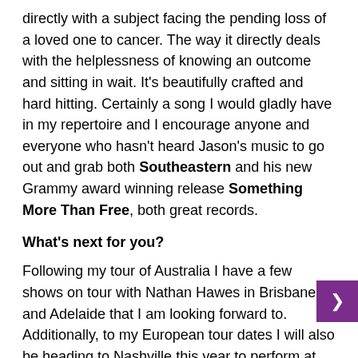directly with a subject facing the pending loss of a loved one to cancer. The way it directly deals with the helplessness of knowing an outcome and sitting in wait. It's beautifully crafted and hard hitting. Certainly a song I would gladly have in my repertoire and I encourage anyone and everyone who hasn't heard Jason's music to go out and grab both Southeastern and his new Grammy award winning release Something More Than Free, both great records.
What's next for you?
Following my tour of Australia I have a few shows on tour with Nathan Hawes in Brisbane and Adelaide that I am looking forward to. Additionally, to my European tour dates I will also be heading to Nashville this year to perform at Americana Music Fest in September. It will be first trip to America and I am incredibly excited to be there.
What's your scene?
Any place. Anywhere and everywhere, but never for too